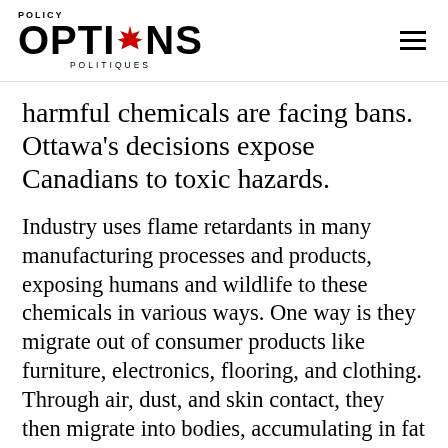POLICY OPTIONS POLITIQUES
harmful chemicals are facing bans. Ottawa's decisions expose Canadians to toxic hazards.
Industry uses flame retardants in many manufacturing processes and products, exposing humans and wildlife to these chemicals in various ways. One way is they migrate out of consumer products like furniture, electronics, flooring, and clothing. Through air, dust, and skin contact, they then migrate into bodies, accumulating in fat and contaminating breast milk. They cause reproductive and neurological effects